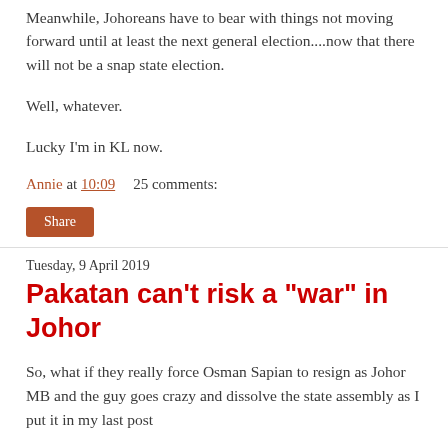Meanwhile, Johoreans have to bear with things not moving forward until at least the next general election....now that there will not be a snap state election.
Well, whatever.
Lucky I'm in KL now.
Annie at 10:09    25 comments:
Share
Tuesday, 9 April 2019
Pakatan can't risk a "war" in Johor
So, what if they really force Osman Sapian to resign as Johor MB and the guy goes crazy and dissolve the state assembly as I put it in my last post
Getting Osman